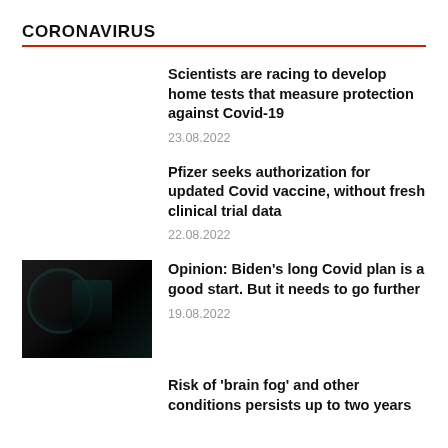CORONAVIRUS
Scientists are racing to develop home tests that measure protection against Covid-19
23.08.2022
Pfizer seeks authorization for updated Covid vaccine, without fresh clinical trial data
22.08.2022
[Figure (photo): Dark image, possibly of a person wearing a mask or dark silhouette against a dark background with some teal/green elements]
Opinion: Biden’s long Covid plan is a good start. But it needs to go further
19.08.2022
Risk of ‘brain fog’ and other conditions persists up to two years